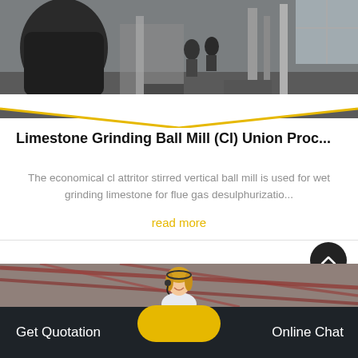[Figure (photo): Industrial factory interior showing large grinding/milling equipment, machinery, workers in background]
Limestone Grinding Ball Mill (Cl) Union Proc...
The economical cl attritor stirred vertical ball mill is used for wet grinding limestone for flue gas desulphurizatio...
read more
[Figure (photo): Industrial building interior, red steel roof structure visible]
Get Quotation
Online Chat